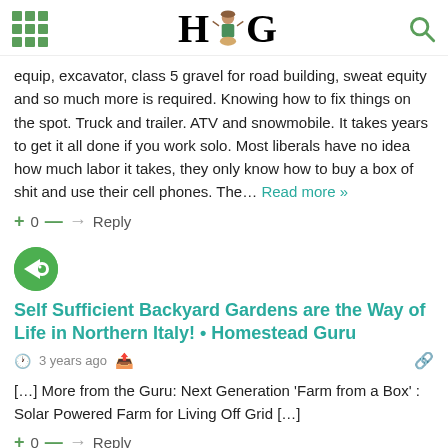HG (Homestead Guru logo with grid icon and search icon)
equip, excavator, class 5 gravel for road building, sweat equity and so much more is required. Knowing how to fix things on the spot. Truck and trailer. ATV and snowmobile. It takes years to get it all done if you work solo. Most liberals have no idea how much labor it takes, they only know how to buy a box of shit and use their cell phones. The… Read more »
+ 0 — → Reply
[Figure (illustration): Green circular avatar with white left-pointing arrow icon (Disqus-style commenter avatar)]
Self Sufficient Backyard Gardens are the Way of Life in Northern Italy! • Homestead Guru
3 years ago
[…] More from the Guru: Next Generation 'Farm from a Box' : Solar Powered Farm for Living Off Grid […]
+ 0 — → Reply
[Figure (illustration): Green circular avatar with white left-pointing arrow icon (Disqus-style commenter avatar)]
Boxcar Farming – long term survival option? •